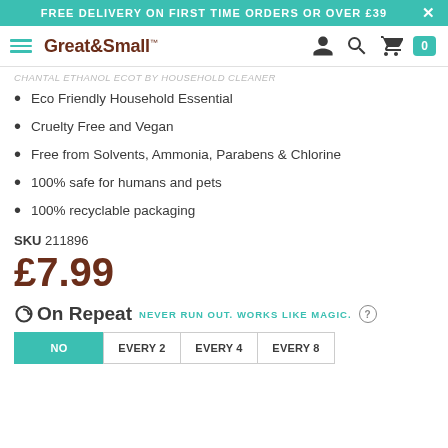FREE DELIVERY ON FIRST TIME ORDERS OR OVER £39
[Figure (logo): Great&Small brand logo with hamburger menu icon]
CHANTAL ETHANOL ECOT BY HOUSEHOLD CLEANER
Eco Friendly Household Essential
Cruelty Free and Vegan
Free from Solvents, Ammonia, Parabens & Chlorine
100% safe for humans and pets
100% recyclable packaging
SKU 211896
£7.99
On Repeat NEVER RUN OUT. WORKS LIKE MAGIC.
NO | EVERY 2 | EVERY 4 | EVERY 8